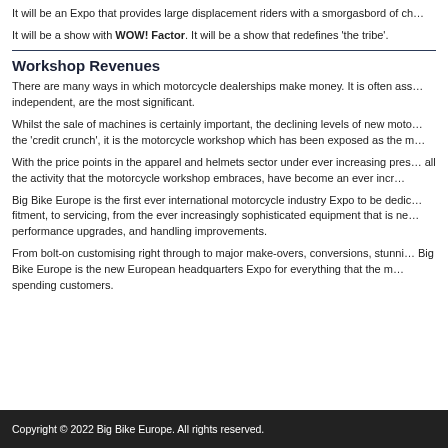It will be an Expo that provides large displacement riders with a smorgasbord of ch…
It will be a show with WOW! Factor. It will be a show that redefines 'the tribe'.
Workshop Revenues
There are many ways in which motorcycle dealerships make money. It is often ass… independent, are the most significant.
Whilst the sale of machines is certainly important, the declining levels of new moto… the 'credit crunch', it is the motorcycle workshop which has been exposed as the m…
With the price points in the apparel and helmets sector under ever increasing pres… all the activity that the motorcycle workshop embraces, have become an ever incr…
Big Bike Europe is the first ever international motorcycle industry Expo to be dedic… fitment, to servicing, from the ever increasingly sophisticated equipment that is ne… performance upgrades, and handling improvements.
From bolt-on customising right through to major make-overs, conversions, stunni… Big Bike Europe is the new European headquarters Expo for everything that the m… spending customers.
Copyright © 2022 Big Bike Europe. All rights reserved.